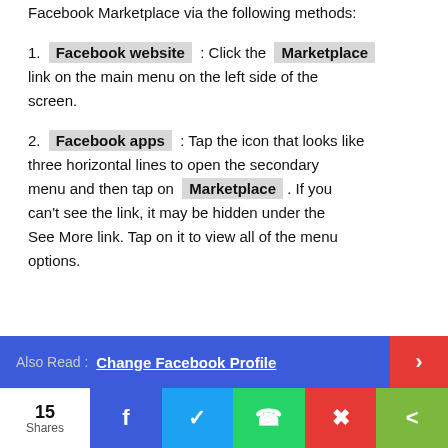Facebook Marketplace via the following methods:
1. Facebook website : Click the Marketplace link on the main menu on the left side of the screen.
2. Facebook apps : Tap the icon that looks like three horizontal lines to open the secondary menu and then tap on Marketplace . If you can't see the link, it may be hidden under the See More link. Tap on it to view all of the menu options.
Also Read : Change Facebook Profile